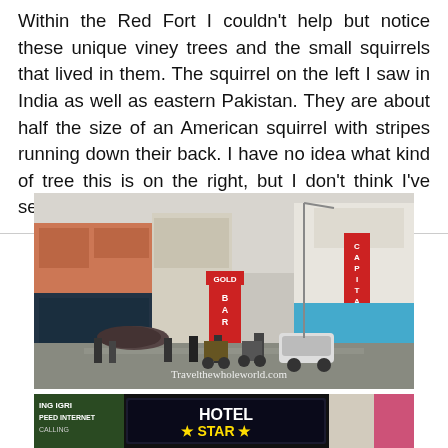Within the Red Fort I couldn't help but notice these unique viney trees and the small squirrels that lived in them. The squirrel on the left I saw in India as well as eastern Pakistan. They are about half the size of an American squirrel with stripes running down their back. I have no idea what kind of tree this is on the right, but I don't think I've seen one like it this size!
[Figure (photo): A busy street scene in India with shops, signs including 'CAPITAL' and 'BAR', pedestrians, motorcycles, a car, and rickshaws in rainy weather. Watermark reads Travelthewholeworld.com]
[Figure (photo): Partial photo of a Hotel Star sign with bold white text 'HOTEL STAR' on dark background with yellow stars, and partial text on the left side]